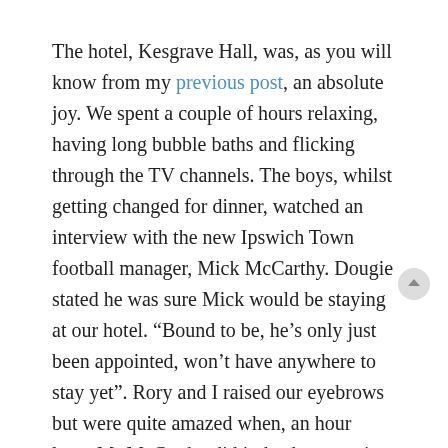The hotel, Kesgrave Hall, was, as you will know from my previous post, an absolute joy. We spent a couple of hours relaxing, having long bubble baths and flicking through the TV channels. The boys, whilst getting changed for dinner, watched an interview with the new Ipswich Town football manager, Mick McCarthy. Dougie stated he was sure Mick would be staying at our hotel. “Bound to be, he’s only just been appointed, won’t have anywhere to stay yet”. Rory and I raised our eyebrows but were quite amazed when, an hour later, Mr McCarthy did indeed saunter into the dining room of the hotel. Damn my husband for being right.
Next morning was cold but bright and sunny; ideal weather for a trip to the coast. Aldeburgh, birthplace of Benjamin Britten, was our first stop